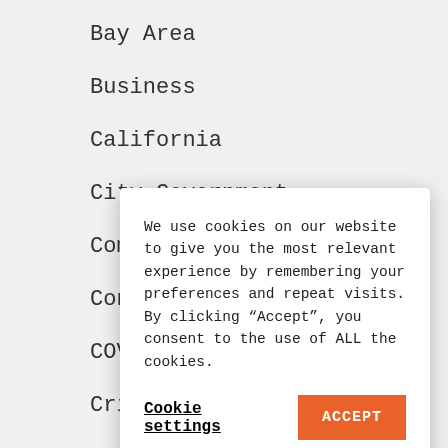Bay Area
Business
California
City Government
Commentary
Contra Costa
COVID-19
Criminal Jus
East Contra C
Economy
Education
Elders
We use cookies on our website to give you the most relevant experience by remembering your preferences and repeat visits. By clicking “Accept”, you consent to the use of ALL the cookies.
Cookie settings
ACCEPT